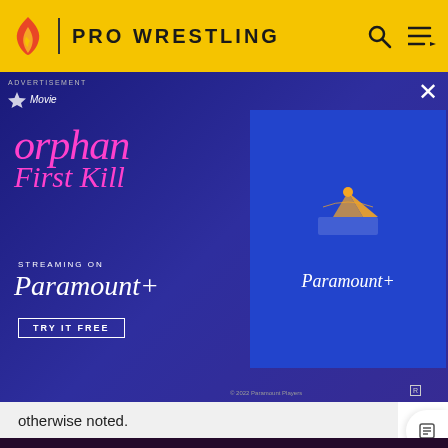PRO WRESTLING
[Figure (screenshot): Advertisement banner for Paramount+ movie 'Orphan First Kill' with streaming promotion and Paramount+ logo on right panel]
otherwise noted.
[Figure (logo): Fandom logo with flame icon in white/pink/yellow on dark purple background]
EXPLORE PROPERTIES